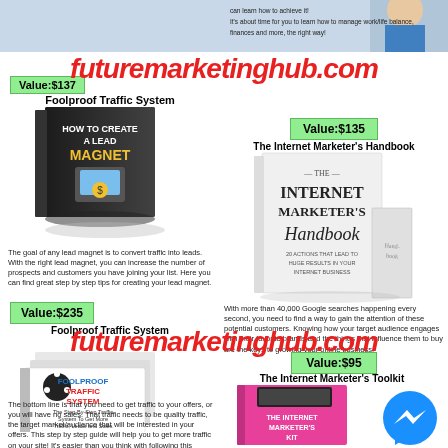[Figure (illustration): Top strip with partial photo of person and text about managing online business]
Value:$137
Foolproof Traffic System
[Figure (illustration): Book cover: How to Create a Lead Magnet]
The goal of any lead magnet is to convert traffic into leads. With the right lead magnet, you can increase the number of prospects and customers you have joining your list. Here you can find great step by step tips for creating your lead magnet.
Value:$235
Foolproof Traffic System
[Figure (illustration): Book cover: Foolproof Traffic System]
The bottom line is that you need to get traffic to your offers, or you will have no sales. That traffic needs to be quality traffic, the target market/audience that will be interested in your offers. This step by step guide will help you to get more traffic on your site! It's easier than you think with following this guide!
Value:$135
The Internet Marketer's Handbook
[Figure (illustration): Book cover: The Internet Marketer's Handbook]
With more than 40,000 Google searches happening every second, you need to find a way to gain the attention of these potential customers. Knowing how your target audience engages with their favorite brands and the things that influence them to buy are the keys to growing your online business.
Value:$95
The Internet Marketer's Toolkit
[Figure (illustration): Book cover: The Internet Marketer's Kit]
futuremarketinghub.com
futuremarketinghub.com